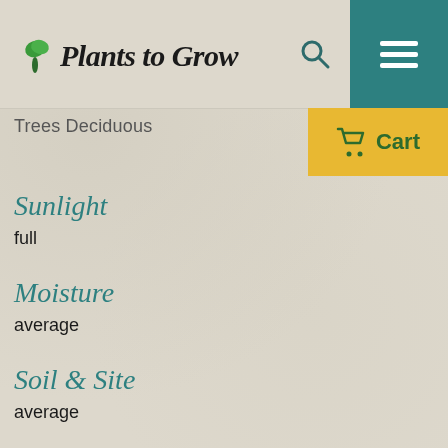Plants to Grow
Trees Deciduous
Cart
Sunlight
full
Moisture
average
Soil & Site
average
Flowers
inconspicuous greenish-white, early spring
Fruit
white to pink to dark red or purple, small fleshy drupes